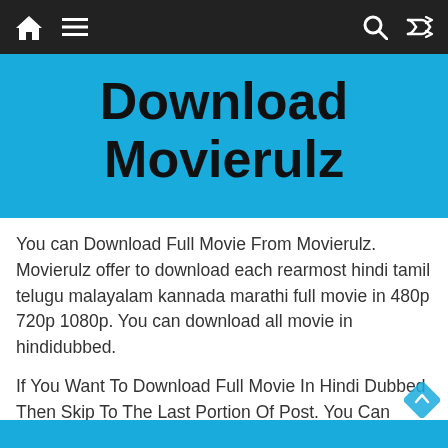Navigation bar with home icon, menu icon, search icon, shuffle icon
Download Movierulz
You can Download Full Movie From Movierulz. Movierulz offer to download each rearmost hindi tamil telugu malayalam kannada marathi full movie in 480p 720p 1080p. You can download all movie in hindidubbed.
If You Want To Download Full Movie In Hindi Dubbed Then Skip To The Last Portion Of Post. You Can Download Full Movie In Just A Click.